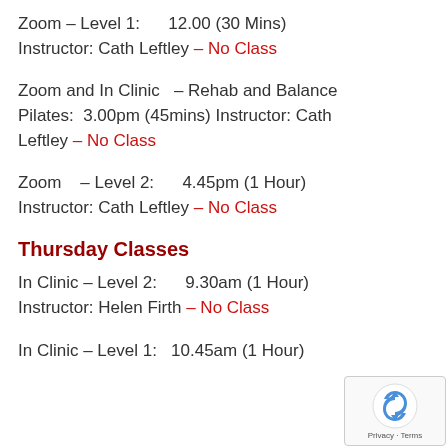Zoom – Level 1:      12.00 (30 Mins)
Instructor: Cath Leftley – No Class
Zoom and In Clinic  – Rehab and Balance Pilates:  3.00pm (45mins) Instructor: Cath Leftley – No Class
Zoom   – Level 2:      4.45pm (1 Hour)
Instructor: Cath Leftley – No Class
Thursday Classes
In Clinic – Level 2:      9.30am (1 Hour)
Instructor: Helen Firth – No Class
In Clinic – Level 1:   10.45am (1 Hour)